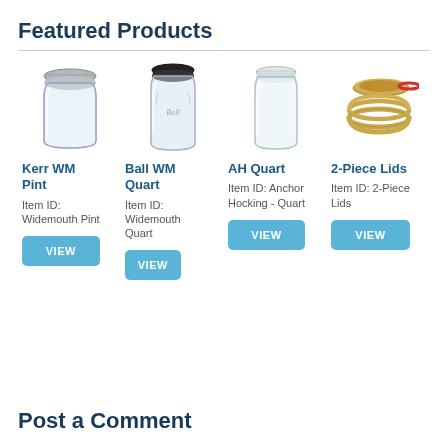Featured Products
[Figure (photo): Kerr WM Pint - wide mouth glass pint jar with silver lid]
Kerr WM Pint
Item ID: Widemouth Pint
VIEW
[Figure (photo): Ball WM Quart - wide mouth glass quart jar with black lid and embossed Ball logo]
Ball WM Quart
Item ID: Widemouth Quart
VIEW
[Figure (photo): AH Quart - Anchor Hocking quart glass jar, clear]
AH Quart
Item ID: Anchor Hocking - Quart
VIEW
[Figure (photo): 2-Piece Lids - gold/silver lid discs with red ring and gold band]
2-Piece Lids
Item ID: 2-Piece Lids
VIEW
Post a Comment